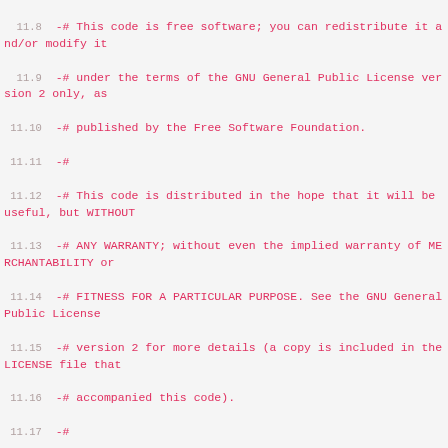11.8  -# This code is free software; you can redistribute it and/or modify it
11.9  -# under the terms of the GNU General Public License version 2 only, as
11.10 -# published by the Free Software Foundation.
11.11 -#
11.12 -# This code is distributed in the hope that it will be useful, but WITHOUT
11.13 -# ANY WARRANTY; without even the implied warranty of MERCHANTABILITY or
11.14 -# FITNESS FOR A PARTICULAR PURPOSE. See the GNU General Public License
11.15 -# version 2 for more details (a copy is included in the LICENSE file that
11.16 -# accompanied this code).
11.17 -#
11.18 -# You should have received a copy of the GNU General Public License version
11.19 -# 2 along with this work; if not, write to the Free Software Foundation,
11.20 -# Inc., 51 Franklin St, Fifth Floor, Boston, MA 02110-1301 USA.
11.21 -#
11.22 -# Please contact Oracle, 500 Oracle Parkway, Redwood Shores, CA 94065 USA
11.23 -# or visit www.oracle.com if you need additional information or have any